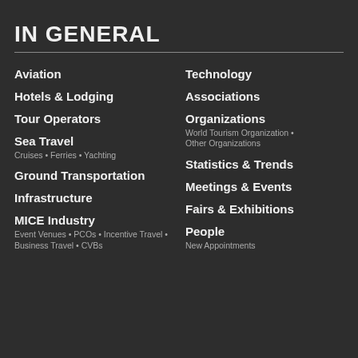IN GENERAL
Aviation
Hotels & Lodging
Tour Operators
Sea Travel
Ground Transportation
Infrastructure
MICE Industry
Technology
Associations
Organizations
Statistics & Trends
Meetings & Events
Fairs & Exhibitions
People